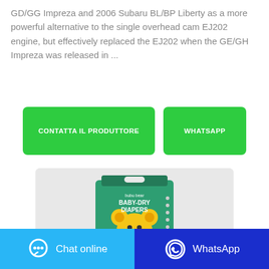GD/GG Impreza and 2006 Subaru BL/BP Liberty as a more powerful alternative to the single overhead cam EJ202 engine, but effectively replaced the EJ202 when the GE/GH Impreza was released in ...
[Figure (other): Two green call-to-action buttons: 'CONTATTA IL PRODUTTORE' and 'WHATSAPP']
[Figure (photo): Product photo of Baby Bear Baby-Dry Diapers box with cartoon bear mascot on a light grey background]
[Figure (other): Bottom navigation bar with 'Chat online' button (blue) and 'WhatsApp' button (dark blue) with icons]